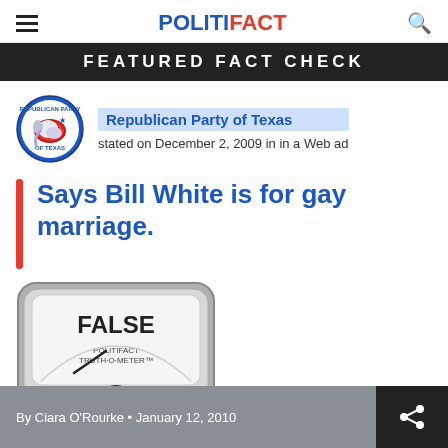POLITIFACT
FEATURED FACT CHECK
[Figure (logo): Republican Party of Texas circular logo with elephant]
Republican Party of Texas stated on December 2, 2009 in in a Web ad
Says Bill White is for gay marriage.
[Figure (other): PolitiFact Truth-O-Meter gauge showing FALSE rating with red button at bottom]
By Ciara O'Rourke • January 12, 2010